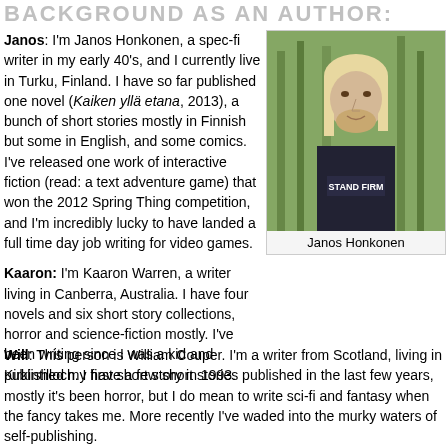BACKGROUND AS AN AUTHOR:
Janos: I'm Janos Honkonen, a spec-fi writer in my early 40's, and I currently live in Turku, Finland. I have so far published one novel (Kaiken yllä etana, 2013), a bunch of short stories mostly in Finnish but some in English, and some comics. I've released one work of interactive fiction (read: a text adventure game) that won the 2012 Spring Thing competition, and I'm incredibly lucky to have landed a full time day job writing for video games.
Kaaron: I'm Kaaron Warren, a writer living in Canberra, Australia. I have four novels and six short story collections, horror and science-fiction mostly. I've been writing since I was a kid and published my first short story in 1993.
[Figure (photo): Photo of Janos Honkonen, a man with long blond hair and a beard, wearing a dark shirt, standing outdoors in a wooded area.]
Janos Honkonen
Will: This person is William Couper. I'm a writer from Scotland, living in Kirkintilloch. I have a few short stories published in the last few years, mostly it's been horror, but I do mean to write sci-fi and fantasy when the fancy takes me. More recently I've waded into the murky waters of self-publishing.